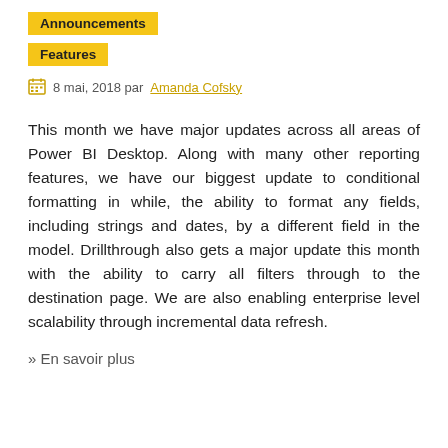Announcements
Features
8 mai, 2018 par Amanda Cofsky
This month we have major updates across all areas of Power BI Desktop. Along with many other reporting features, we have our biggest update to conditional formatting in while, the ability to format any fields, including strings and dates, by a different field in the model. Drillthrough also gets a major update this month with the ability to carry all filters through to the destination page. We are also enabling enterprise level scalability through incremental data refresh.
» En savoir plus